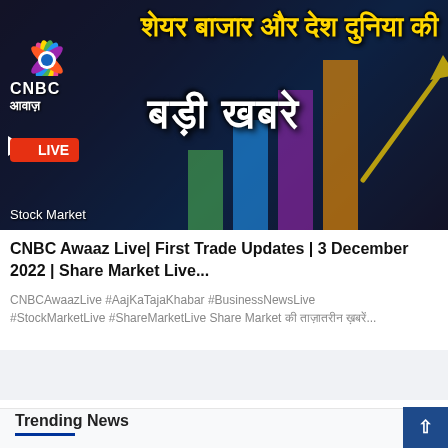[Figure (screenshot): CNBC Awaaz Live thumbnail showing peacock NBC logo, Hindi text 'शेयर बाजार और देश दुनिया की बड़ी खबरे' in yellow and white, LIVE badge in red, stock market bar chart graphic in background, 'Stock Market' label at bottom]
CNBC Awaaz Live| First Trade Updates | 3 December 2022 | Share Market Live...
CNBCAwaazLive #AajKaTajaKhabar #BusinessNewsLive #StockMarketLive #ShareMarketLive Share Market की ताज़ातरीन ख़बरें...
Trending News